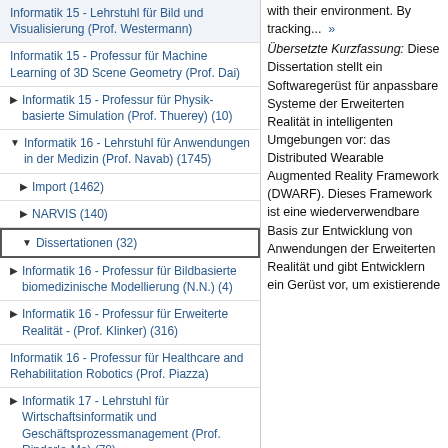Informatik 15 - Lehrstuhl für Bild und Visualisierung (Prof. Westermann)
Informatik 15 - Professur für Machine Learning of 3D Scene Geometry (Prof. Dai)
Informatik 15 - Professur für Physik-basierte Simulation (Prof. Thuerey) (10)
Informatik 16 - Lehrstuhl für Anwendungen in der Medizin (Prof. Navab) (1745)
Import (1462)
NARVIS (140)
Dissertationen (32)
Informatik 16 - Professur für Bildbasierte biomedizinische Modellierung (N.N.) (4)
Informatik 16 - Professur für Erweiterte Realität - (Prof. Klinker) (316)
Informatik 16 - Professur für Healthcare and Rehabilitation Robotics (Prof. Piazza)
Informatik 17 - Lehrstuhl für Wirtschaftsinformatik und Geschäftsprozessmanagement (Prof. Rinderle-Ma) (78)
Informatik 18 - Lehrstuhl für Wirtschaftsinformatik und Entscheidungstheorie (Prof. Bichler) (70)
with their environment. By tracking... »
Übersetzte Kurzfassung: Diese Dissertation stellt ein Softwaregerüst für anpassbare Systeme der Erweiterten Realität in intelligenten Umgebungen vor: das Distributed Wearable Augmented Reality Framework (DWARF). Dieses Framework ist eine wiederverwendbare Basis zur Entwicklung von Anwendungen der Erweiterten Realität und gibt Entwicklern ein Gerüst vor, um existierende